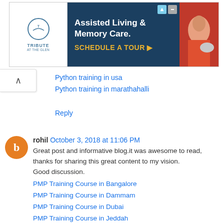[Figure (infographic): Advertisement banner for Tribute at the Glen - Assisted Living & Memory Care with Schedule a Tour button]
Python training in usa
Python training in marathahalli
Reply
rohil  October 3, 2018 at 11:06 PM
Great post and informative blog.it was awesome to read, thanks for sharing this great content to my vision.
Good discussion.
PMP Training Course in Bangalore
PMP Training Course in Dammam
PMP Training Course in Dubai
PMP Training Course in Jeddah
PMP Training Course in Riyadh
Reply